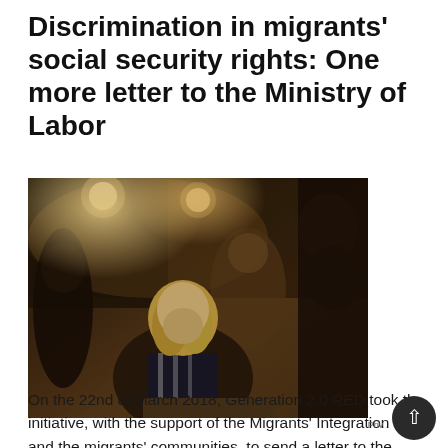Discrimination in migrants' social security rights: One more letter to the Ministry of Labor
[Figure (photo): A group of people gathered around a table or document, appearing to review or discuss materials together. A woman with blonde hair in a striped top, a tall person of African descent, and others are visible in a warm indoor setting.]
On the 22nd of March 2018, Generation 2.0 RED took the initiative, with the support of the Migrants' Integration and the migrants' communities, to send a letter to the Ministry of Labor...